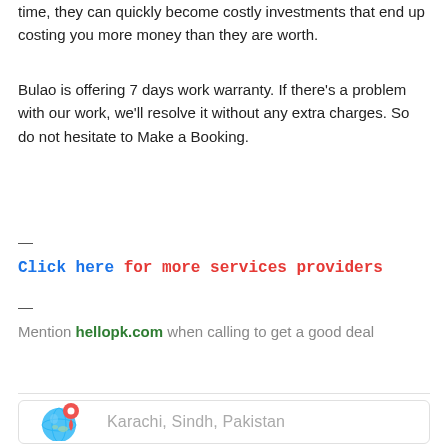time, they can quickly become costly investments that end up costing you more money than they are worth.
Bulao is offering 7 days work warranty. If there’s a problem with our work, we’ll resolve it without any extra charges. So do not hesitate to Make a Booking.
—
Click here for more services providers
—
Mention hellopk.com when calling to get a good deal
Karachi, Sindh, Pakistan